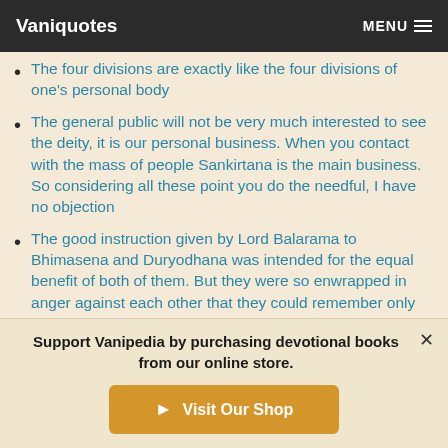Vaniquotes | MENU
The four divisions are exactly like the four divisions of one's personal body
The general public will not be very much interested to see the deity, it is our personal business. When you contact with the mass of people Sankirtana is the main business. So considering all these point you do the needful, I have no objection
The good instruction given by Lord Balarama to Bhimasena and Duryodhana was intended for the equal benefit of both of them. But they were so enwrapped in anger against each other that they could remember only their long-standing
Support Vanipedia by purchasing devotional books from our online store.
Visit Our Shop